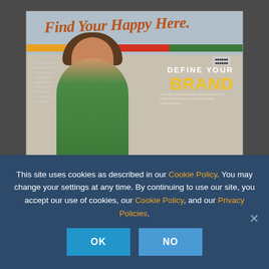[Figure (photo): Magazine cover showing a woman in a green dress standing in front of a sign reading 'Find Your Happy Here.' with text overlay 'DEFINE YOUR BRAND' and subtext about cannabis firms recognizing value propositions as market-crowding breakthroughs.]
This site uses cookies as described in our Cookie Policy. You may change your settings at any time. By continuing to use our site, you accept our use of cookies, our Cookie Policy, and our Privacy Policies.